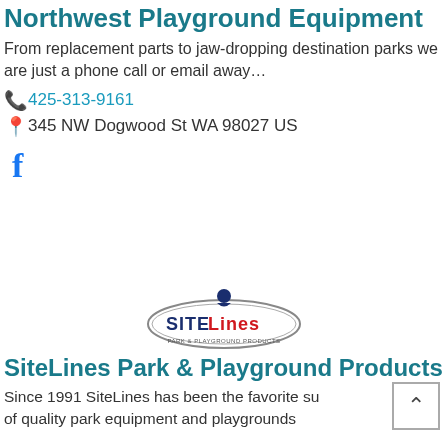Northwest Playground Equipment
From replacement parts to jaw-dropping destination parks we are just a phone call or email away…
📞 425-313-9161
📍 345 NW Dogwood St WA 98027 US
[Figure (logo): Facebook 'f' logo in blue]
[Figure (logo): SiteLines Park & Playground Products oval logo with figure on top]
SiteLines Park & Playground Products
Since 1991 SiteLines has been the favorite su of quality park equipment and playgrounds